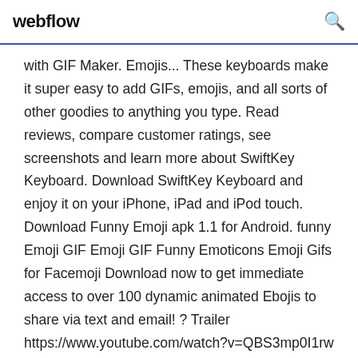webflow
with GIF Maker. Emojis... These keyboards make it super easy to add GIFs, emojis, and all sorts of other goodies to anything you type. Read reviews, compare customer ratings, see screenshots and learn more about SwiftKey Keyboard. Download SwiftKey Keyboard and enjoy it on your iPhone, iPad and iPod touch. Download Funny Emoji apk 1.1 for Android. funny Emoji GIF Emoji GIF Funny Emoticons Emoji Gifs for Facemoji Download now to get immediate access to over 100 dynamic animated Ebojis to share via text and email! ? Trailer https://www.youtube.com/watch?v=QBS3mp0I1rw ? Features - Over 100 Fully Animated The top li...